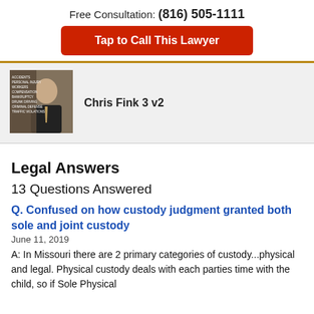Free Consultation: (816) 505-1111
Tap to Call This Lawyer
[Figure (photo): Profile photo of lawyer Chris Fink with text overlay listing practice areas: Accidents, Personal Injury, Workers Compensation, Bankruptcy, Drunk Driving, Criminal Defense, Traffic Violations]
Chris Fink 3 v2
Legal Answers
13 Questions Answered
Q. Confused on how custody judgment granted both sole and joint custody
June 11, 2019
A: In Missouri there are 2 primary categories of custody...physical and legal. Physical custody deals with each parties time with the child, so if Sole Physical